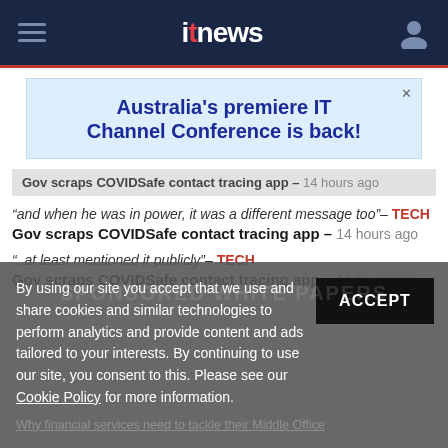itnews
[Figure (other): Advertisement banner: Australia's premiere IT Channel Conference is back!]
Gov scraps COVIDSafe contact tracing app - 14 hours ago
"and when he was in power, it was a different message too"- TECH
Gov scraps COVIDSafe contact tracing app - 14 hours ago
"..at least mentioned it publicly"- TECH
Gov scraps COVIDSafe contact tracing app - 14 hours ago
By using our site you accept that we use and share cookies and similar technologies to perform analytics and provide content and ads tailored to your interests. By continuing to use our site, you consent to this. Please see our Cookie Policy for more information.